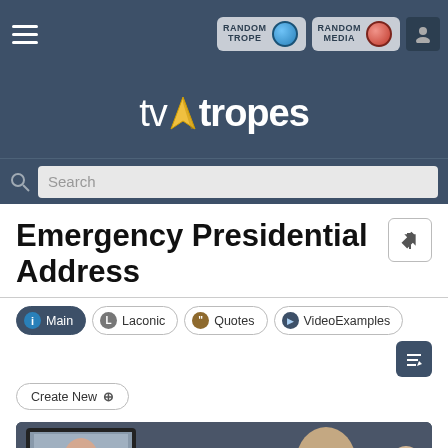TV Tropes — Navigation header with hamburger menu, Random Trope and Random Media buttons, user icon
[Figure (logo): TV Tropes logo: stylized 'tvtropes' text with yellow kite/arrow shape over the 't']
Search
Emergency Presidential Address
Main  Laconic  Quotes  VideoExamples  Create New
[Figure (photo): Photo showing people watching a television screen displaying a news anchor or official giving an address]